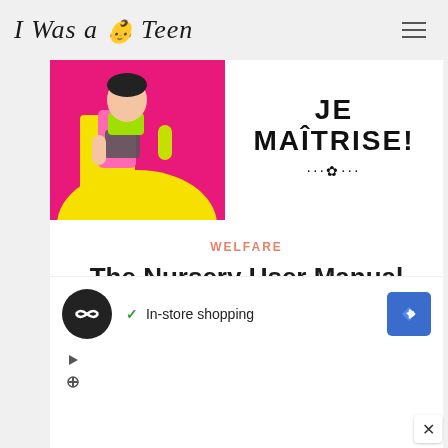I Was a Teen
[Figure (illustration): Colorful cartoon illustration on left side showing a character in pink and yellow with a bag, alongside hand-drawn text reading JE MAITRISE! with a flower decoration]
WELFARE
The Nursery User Manual
2019
Enjoy the week of adaptation to ask all the questions that come to you. In the evening, if one of them crosses your mind, do not
[Figure (screenshot): Advertisement banner showing In-store shopping with a logo circle, checkmark, and navigation arrow icon]